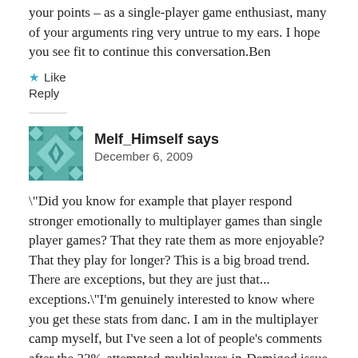your points – as a single-player game enthusiast, many of your arguments ring very untrue to my ears. I hope you see fit to continue this conversation.Ben
★ Like
Reply
Melf_Himself says
December 6, 2009
\"Did you know for example that player respond stronger emotionally to multiplayer games than single player games? That they rate them as more enjoyable? That they play for longer? This is a big broad trend. There are exceptions, but they are just that... exceptions.\"I'm genuinely interested to know where you get these stats from danc. I am in the multiplayer camp myself, but I've seen a lot of people's comments after the 23%-attempted-multiplayer-in-Demigod issue